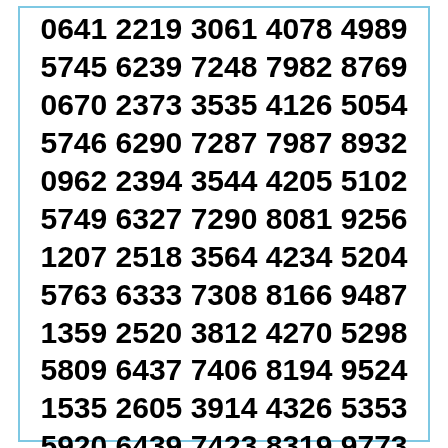0641 2219 3061 4078 4989
5745 6239 7248 7982 8769
0670 2373 3535 4126 5054
5746 6290 7287 7987 8932
0962 2394 3544 4205 5102
5749 6327 7290 8081 9256
1207 2518 3564 4234 5204
5763 6333 7308 8166 9487
1359 2520 3812 4270 5298
5809 6437 7406 8194 9524
1535 2605 3914 4326 5353
5920 6439 7423 8319 9773
1537 2682 3962 4548 5370